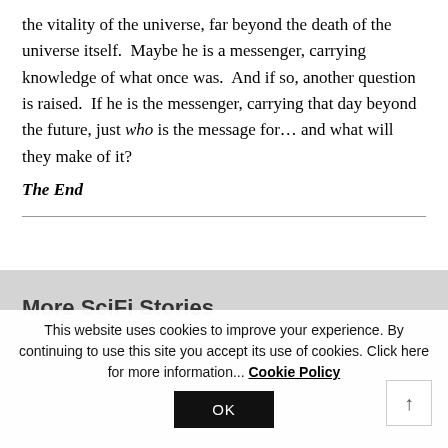the vitality of the universe, far beyond the death of the universe itself.  Maybe he is a messenger, carrying knowledge of what once was.  And if so, another question is raised.  If he is the messenger, carrying that day beyond the future, just who is the message for… and what will they make of it?
The End
More SciFi Stories
This website uses cookies to improve your experience. By continuing to use this site you accept its use of cookies. Click here for more information... Cookie Policy
OK